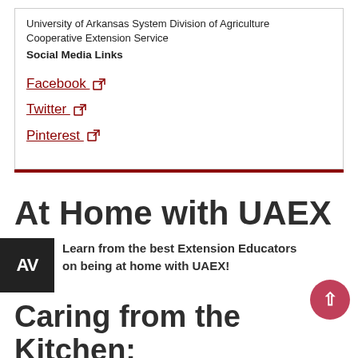University of Arkansas System Division of Agriculture Cooperative Extension Service
Social Media Links
Facebook
Twitter
Pinterest
At Home with UAEX
Learn from the best Extension Educators on being at home with UAEX!
Caring from the Kitchen: